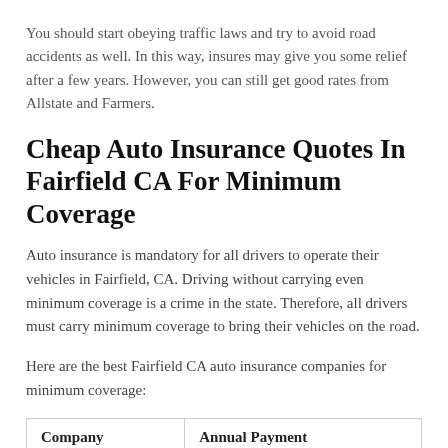You should start obeying traffic laws and try to avoid road accidents as well. In this way, insures may give you some relief after a few years. However, you can still get good rates from Allstate and Farmers.
Cheap Auto Insurance Quotes In Fairfield CA For Minimum Coverage
Auto insurance is mandatory for all drivers to operate their vehicles in Fairfield, CA. Driving without carrying even minimum coverage is a crime in the state. Therefore, all drivers must carry minimum coverage to bring their vehicles on the road.
Here are the best Fairfield CA auto insurance companies for minimum coverage:
| Company | Annual Payment |
| --- | --- |